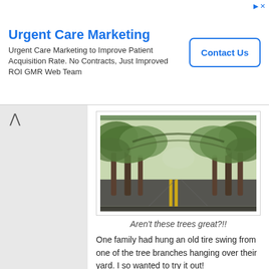Urgent Care Marketing
Urgent Care Marketing to Improve Patient Acquisition Rate. No Contracts, Just Improved ROI GMR Web Team
Contact Us
[Figure (photo): A tree-lined road with large live oak trees whose branches form a canopy over the street]
Aren't these trees great?!!
One family had hung an old tire swing from one of the tree branches hanging over their yard. I so wanted to try it out!
[Figure (photo): Partial view of another tree photograph, showing branches and foliage]